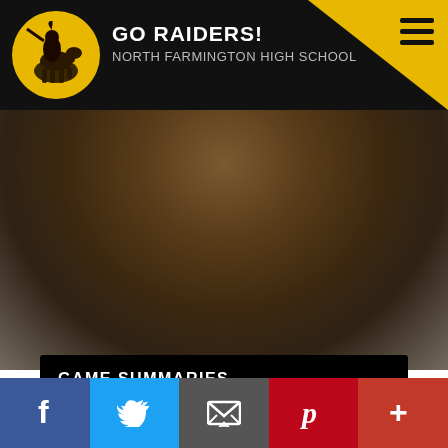GO RAIDERS! NORTH FARMINGTON HIGH SCHOOL
GAME SUMMARIES
No highlights for this season yet.
[Figure (other): Social media sharing bar with Facebook, Twitter, Email, Pinterest, and More (+) buttons]